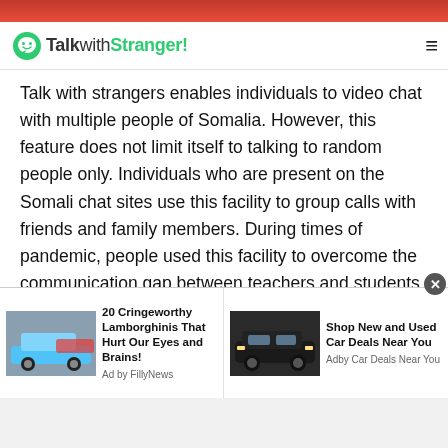[Figure (photo): Red/photo strip at top of page]
TalkwithStranger!
Talk with strangers enables individuals to video chat with multiple people of Somalia. However, this feature does not limit itself to talking to random people only. Individuals who are present on the Somali chat sites use this facility to group calls with friends and family members. During times of pandemic, people used this facility to overcome the communication gap between teachers and students. It also helped the office workers to connect with their teams efficiently. Moreover, since the world was at a halt during the pandemic of covid-19, talk with strangers enabled people across nations to
[Figure (photo): Ad: 20 Cringeworthy Lamborghinis That Hurt Our Eyes and Brains! Ad by FillyNews]
[Figure (photo): Ad: Shop New and Used Car Deals Near You. Adby Car Deals Near You]